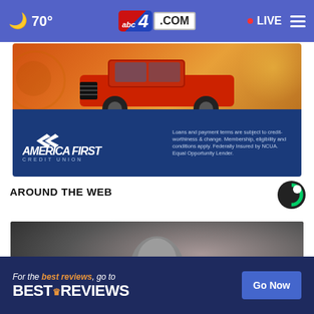🌙 70° | abc4.com | LIVE ☰
[Figure (photo): America First Credit Union advertisement banner featuring a red Ford Raptor truck on an orange-to-blue gradient background with logo and disclaimer text]
AROUND THE WEB
[Figure (logo): Taboola circular logo (dark with green-white C shape)]
[Figure (photo): Dark thumbnail image of a bald person, partially lit, with an X close button overlay]
[Figure (screenshot): BestReviews advertisement banner: 'For the best reviews, go to BESTREVIEWS' with a 'Go Now' button on dark blue background]